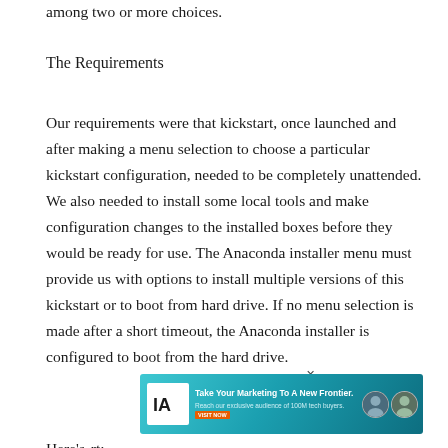among two or more choices.
The Requirements
Our requirements were that kickstart, once launched and after making a menu selection to choose a particular kickstart configuration, needed to be completely unattended. We also needed to install some local tools and make configuration changes to the installed boxes before they would be ready for use. The Anaconda installer menu must provide us with options to install multiple versions of this kickstart or to boot from hard drive. If no menu selection is made after a short timeout, the Anaconda installer is configured to boot from the hard drive.
[Figure (other): Advertisement banner: Take Your Marketing To A New Frontier. Reach our exclusive audience of 100M tech buyers. With TA logo and photos of people.]
Here's...rt: